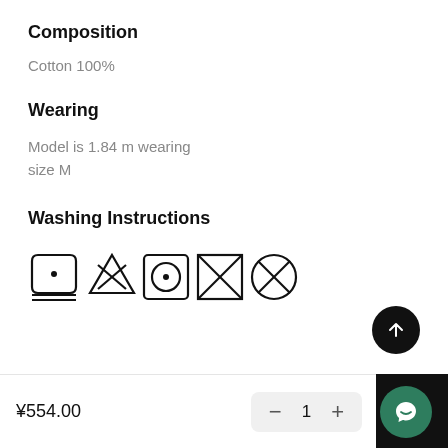Composition
Cotton 100%
Wearing
Model is 1.84 m wearing size M
Washing Instructions
[Figure (illustration): Five laundry care symbols: wash symbol with dot, do not bleach X, tumble dry with dot, do not tumble dry X, do not dry clean X]
¥554.00
- 1 +